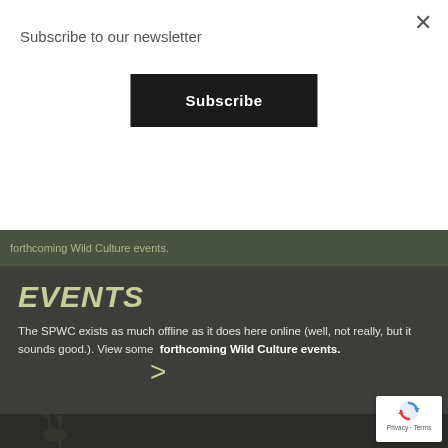Subscribe to our newsletter
×
Subscribe
forthcoming Wild Culture events.
EVENTS
The SPWC exists as much offline as it does here online (well, not really, but it sounds good.). View some  forthcoming Wild Culture events.
[Figure (illustration): Dark background with tree branch silhouette illustration and a right-pointing chevron arrow]
[Figure (logo): Google reCAPTCHA badge with Privacy and Terms links]